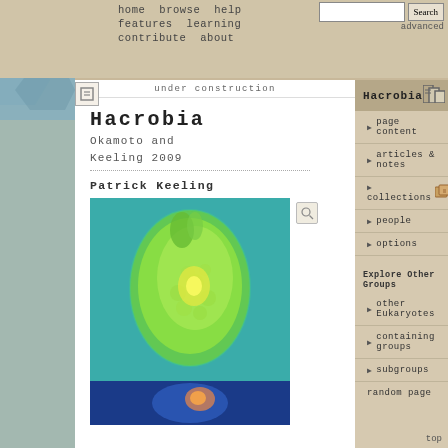home   browse   help   features   learning   contribute   about
Search   advanced
roject
under construction
Hacrobia
Okamoto and Keeling 2009
Patrick Keeling
[Figure (photo): Microscope image of a green Hacrobia organism against a teal background]
[Figure (photo): Second microscope image (partially visible, blue background with organism)]
Hacrobia
page content
articles & notes
collections
people
options
Explore Other Groups
other Eukaryotes
containing groups
subgroups
random page
top